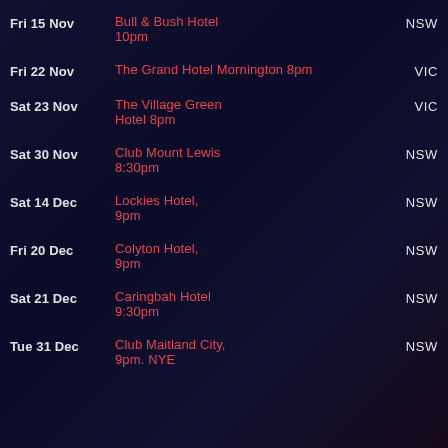Fri 15 Nov | Bull & Bush Hotel 10pm | NSW
Fri 22 Nov | The Grand Hotel Mornington 8pm | VIC
Sat 23 Nov | The Village Green Hotel 8pm | VIC
Sat 30 Nov | Club Mount Lewis 8:30pm | NSW
Sat 14 Dec | Lockies Hotel, 9pm | NSW
Fri 20 Dec | Colyton Hotel, 9pm | NSW
Sat 21 Dec | Caringbah Hotel 9:30pm | NSW
Tue 31 Dec | Club Maitland City, 9pm. NYE | NSW